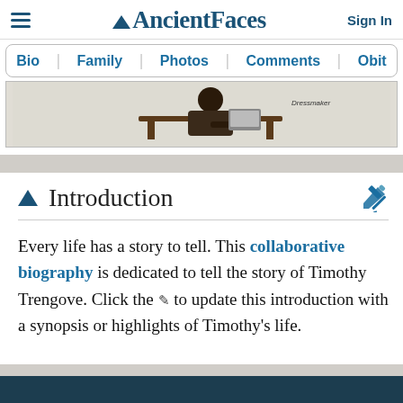AncientFaces — Sign In
Bio | Family | Photos | Comments | Obit
[Figure (photo): Silhouette of a person sitting at a desk, working. Label reads 'Dressmaker'.]
Introduction
Every life has a story to tell. This collaborative biography is dedicated to tell the story of Timothy Trengove. Click the [pencil icon] to update this introduction with a synopsis or highlights of Timothy's life.